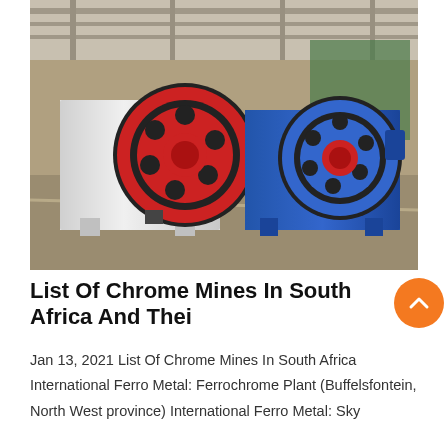[Figure (photo): Industrial photo of two large jaw crusher machines in a factory/warehouse setting. One machine is white with red flywheel accents, the other is blue, both sitting on a concrete floor with industrial ceiling structure visible above.]
List Of Chrome Mines In South Africa And Thei
Jan 13, 2021 List Of Chrome Mines In South Africa International Ferro Metal: Ferrochrome Plant (Buffelsfontein, North West province) International Ferro Metal: Sky